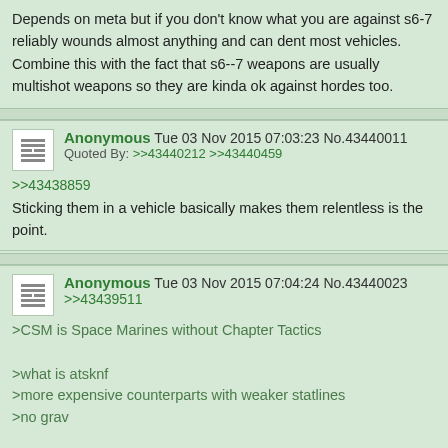Depends on meta but if you don't know what you are against s6-7 reliably wounds almost anything and can dent most vehicles. Combine this with the fact that s6--7 weapons are usually multishot weapons so they are kinda ok against hordes too.
Anonymous Tue 03 Nov 2015 07:03:23 No.43440011 Quoted By: >>43440212 >>43440459
>>43438859
Sticking them in a vehicle basically makes them relentless is the point.
Anonymous Tue 03 Nov 2015 07:04:24 No.43440023
>>43439511
>CSM is Space Marines without Chapter Tactics

>what is atsknf
>more expensive counterparts with weaker statlines
>no grav

Yeah the Heldrake is great at 170 points.
Obliterators are only good because the other heavy support choices are so bad. In any other codex they would be considered meh.
Cultists are ok at 5 ppm, but Scouts are arguably better. Chaos Spawn are incredible at 30 ppm.
Lords and Sorcerers are decent HQ choices in the context of the CSM codex, but not that great in the 7th edition environment. Theyre